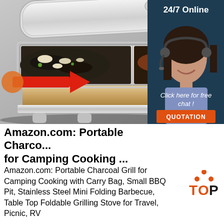[Figure (photo): Stainless steel chafing dish food warmer with lid open, showing two food compartments with mixed dishes and broccoli, on metal legs, with a red arrow pointing to an orange heating fuel canister area. Overlaid ad banner: '24/7 Online' with customer service representative wearing headset, 'Click here for free chat!' and orange 'QUOTATION' button.]
Amazon.com: Portable Charco... for Camping Cooking ...
Amazon.com: Portable Charcoal Grill for Camping Cooking with Carry Bag, Small BBQ Pit, Stainless Steel Mini Folding Barbecue, Table Top Foldable Grilling Stove for Travel, Picnic, RV
[Figure (logo): TOP logo with orange dots forming a triangle above the word TOP in orange and black text]